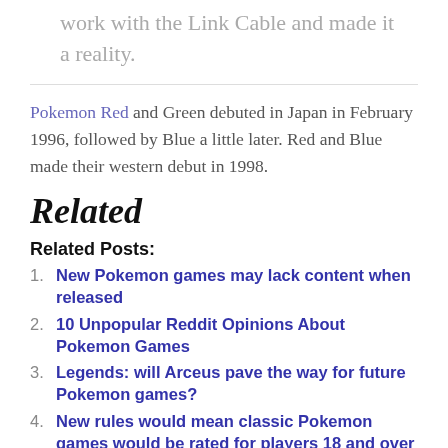work with the Link Cable and made it a reality.
Pokemon Red and Green debuted in Japan in February 1996, followed by Blue a little later. Red and Blue made their western debut in 1998.
Related
Related Posts:
New Pokemon games may lack content when released
10 Unpopular Reddit Opinions About Pokemon Games
Legends: will Arceus pave the way for future Pokemon games?
New rules would mean classic Pokemon games would be rated for players 18 and over if released